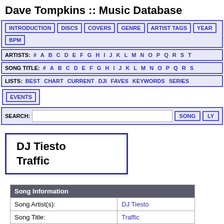Dave Tompkins :: Music Database
INTRODUCTION | DISCS | COVERS | GENRE | ARTIST TAGS | YEAR | BPM
ARTISTS: # A B C D E F G H I J K L M N O P Q R S T ...
SONG TITLE: # A B C D E F G H I J K L M N O P Q R S ...
LISTS: BEST CHART CURRENT DJI FAVES KEYWORDS SERIES
EVENTS
SEARCH: [input] SONG LY...
DJ Tiesto
Traffic
| Song Information |  |
| --- | --- |
| Song Artist(s): | DJ Tiesto |
| Song Title: | Traffic |
| Song Mix: | Edit |